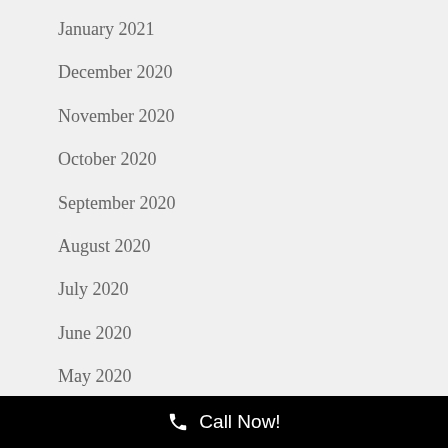January 2021
December 2020
November 2020
October 2020
September 2020
August 2020
July 2020
June 2020
May 2020
April 2020
📞 Call Now!